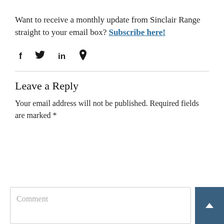Want to receive a monthly update from Sinclair Range straight to your email box? Subscribe here!
[Figure (other): Social media share icons: Facebook (f), Twitter (bird), LinkedIn (in), Pinterest (p)]
Leave a Reply
Your email address will not be published. Required fields are marked *
Comment